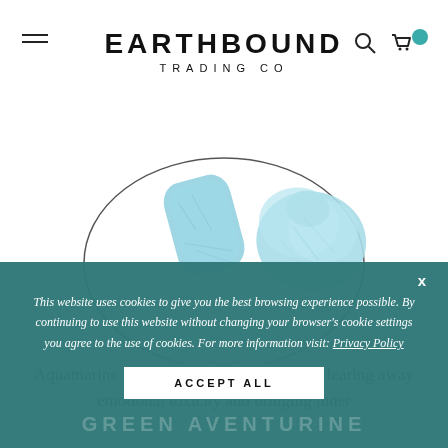EARTHBOUND TRADING CO
[Figure (photo): Two light blue aquamarine tumbled crystal stones on a wire necklace against white background]
Aquamarine is a vital crystal to use when clearing away emotional toxicity and bringing inner
This website uses cookies to give you the best browsing experience possible. By continuing to use this website without changing your browser's cookie settings you agree to the use of cookies. For more information visit: Privacy Policy
ACCEPT ALL
GREEN AVENTURINE